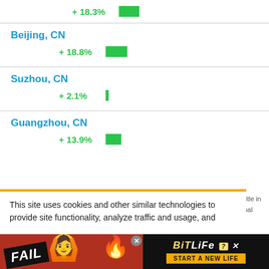+ 18.3%
Beijing, CN
+ 18.8%
Suzhou, CN
+ 2.1%
Guangzhou, CN
+ 13.9%
This site uses cookies and other similar technologies to provide site functionality, analyze traffic and usage, and
title in nal
[Figure (screenshot): Advertisement banner for BitLife game with FAIL text, cartoon character, fire emoji, and 'START A NEW LIFE' button]